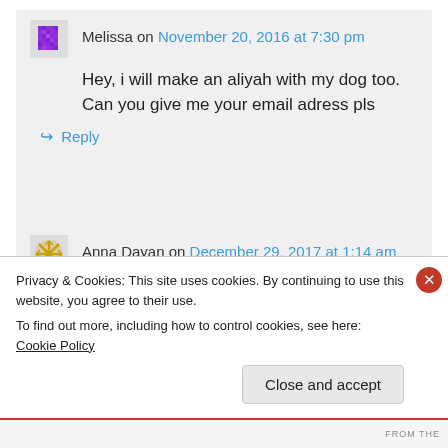Melissa on November 20, 2016 at 7:30 pm
Hey, i will make an aliyah with my dog too. Can you give me your email adress pls
↪ Reply
Anna Dayan on December 29, 2017 at 1:14 am
Privacy & Cookies: This site uses cookies. By continuing to use this website, you agree to their use.
To find out more, including how to control cookies, see here: Cookie Policy
Close and accept